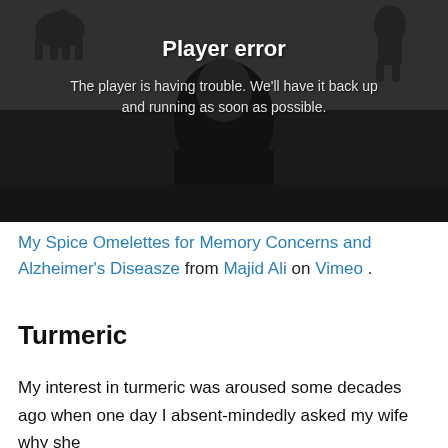[Figure (screenshot): Video player showing a man in a suit at a desk, with a 'Player error' overlay message. The background is dark/dimmed. Error text reads: 'Player error' and 'The player is having trouble. We'll have it back up and running as soon as possible.']
My Spice Omelettes for Memory Concerns and Alzheimer's Diseasze from Majid Ali on Vimeo.
Turmeric
My interest in turmeric was aroused some decades ago when one day I absent-mindedly asked my wife why she